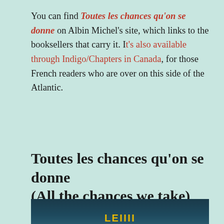You can find Toutes les chances qu'on se donne on Albin Michel's site, which links to the booksellers that carry it. It's also available through Indigo/Chapters in Canada, for those French readers who are over on this side of the Atlantic.
Toutes les chances qu'on se donne (All the chances we take)
JANUARY 27, 2021 / LEAVE A COMMENT
[Figure (photo): Partial view of a book cover with dark teal/navy background and yellow text visible at the bottom]